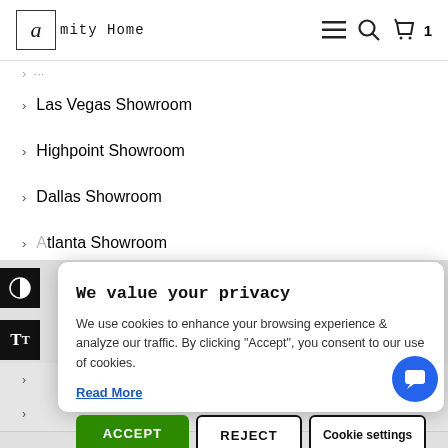Amity Home — navigation bar with menu, search, and cart icons
> Las Vegas Showroom
> Highpoint Showroom
> Dallas Showroom
Atlanta Showroom
We value your privacy
We use cookies to enhance your browsing experience & analyze our traffic. By clicking "Accept", you consent to our use of cookies.
Read More
ACCEPT | REJECT | Cookie settings
> Site Map